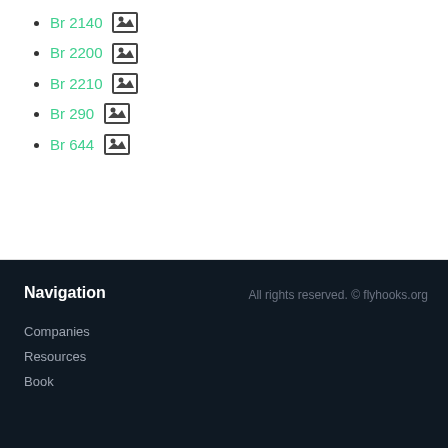Br 2140 [image icon]
Br 2200 [image icon]
Br 2210 [image icon]
Br 290 [image icon]
Br 644 [image icon]
Navigation
All rights reserved. © flyhooks.org
Companies
Resources
Book